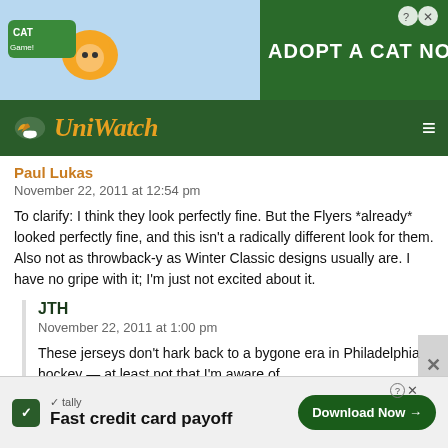[Figure (screenshot): Top banner ad for a cat game with cartoon cats and text 'ADOPT A CAT NOW' on a blue sky background, with close button]
[Figure (logo): UniWatch website navigation bar with yellow italic logo text 'UniWatch' with wing icon on dark green background, and hamburger menu icon]
Paul Lukas
November 22, 2011 at 12:54 pm
To clarify: I think they look perfectly fine. But the Flyers *already* looked perfectly fine, and this isn't a radically different look for them. Also not as throwback-y as Winter Classic designs usually are. I have no gripe with it; I'm just not excited about it.
JTH
November 22, 2011 at 1:00 pm
These jerseys don't hark back to a bygone era in Philadelphia hockey — at least not that I'm aware of.
To me, it just comes off as an excuse to roll out a new alternate jersey, which is fine, I guess. At least they're no[t...] de[...]
[Figure (screenshot): Bottom banner ad for Tally app - 'Fast credit card payoff' with green Download Now button]